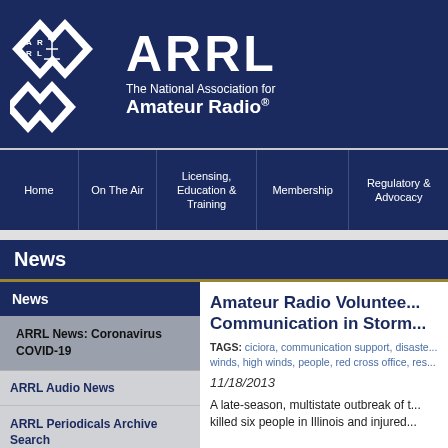[Figure (logo): ARRL logo with diamond shapes containing letters A, R, R, L and a radio tower symbol]
ARRL The National Association for Amateur Radio®
Home | On The Air | Licensing, Education & Training | Membership | Regulatory & Advocacy
News
News
ARRL News: Coronavirus COVID-19
ARRL Audio News
ARRL Periodicals Archive Search
QST
Amateur Radio Volunteers Provide Communication in Storm...
TAGS: ciciora, communication support, disaste... winds, high winds, people, red cross office, res...
11/18/2013
A late-season, multistate outbreak of t... killed six people in Illinois and injured...